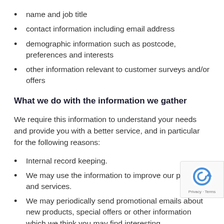name and job title
contact information including email address
demographic information such as postcode, preferences and interests
other information relevant to customer surveys and/or offers
What we do with the information we gather
We require this information to understand your needs and provide you with a better service, and in particular for the following reasons:
Internal record keeping.
We may use the information to improve our products and services.
We may periodically send promotional emails about new products, special offers or other information which we think you may find interesting.